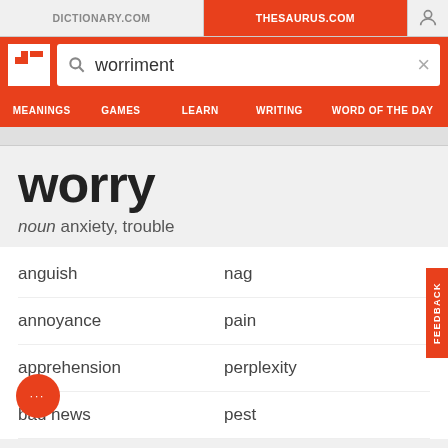DICTIONARY.COM | THESAURUS.COM
[Figure (screenshot): Thesaurus.com website header with search bar showing 'worriment', navigation tabs: MEANINGS, GAMES, LEARN, WRITING, WORD OF THE DAY]
worry
noun anxiety, trouble
anguish
nag
annoyance
pain
apprehension
perplexity
bad news
pest